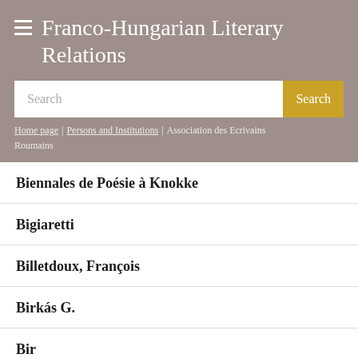Franco-Hungarian Literary Relations
Search | Home page | Persons and Institutions | Association des Ecrivains Roumains
Biennales de Poésie à Knokke
Bigiaretti
Billetdoux, François
Birkás G.